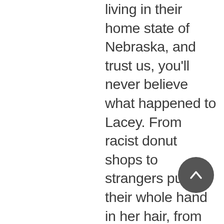living in their home state of Nebraska, and trust us, you'll never believe what happened to Lacey. From racist donut shops to strangers putting their whole hand in her hair, from being mistaken for a prostitute to being mistaken for Harriet Tubman, Lacey is a lightning rod for hilariously ridiculous yet all-too-real anecdotes. She's the perfect mix of polite, beautiful, petite, and Black that apparently makes people think "I can say whatever I want to this woman." And now, Amber and Lacey share these entertainingly horrifying